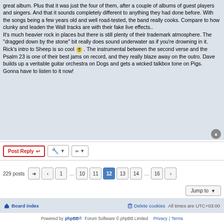great album. Plus that it was just the four of them, after a couple of albums of guest players and singers. And that it sounds completely different to anything they had done before. With the songs being a few years old and well road-tested, the band really cooks. Compare to how clunky and leaden the Wall tracks are with their fake live effects..
It's much heavier rock in places but there is still plenty of their trademark atmosphere. The "dragged down by the stone" bit really does sound underwater as if you're drowning in it. Rick's intro to Sheep is so cool 😎 . The instrumental between the second verse and the Psalm 23 is one of their best jams on record, and they really blaze away on the outro. Dave builds up a veritable guitar orchestra on Dogs and gets a wicked talkbox tone on Pigs.
Gonna have to listen to it now!
Post Reply
229 posts  1 ... 10 11 12 13 14 ... 16
Jump to
Board index   Delete cookies   All times are UTC+03:00
Powered by phpBB® Forum Software © phpBB Limited  Privacy | Terms